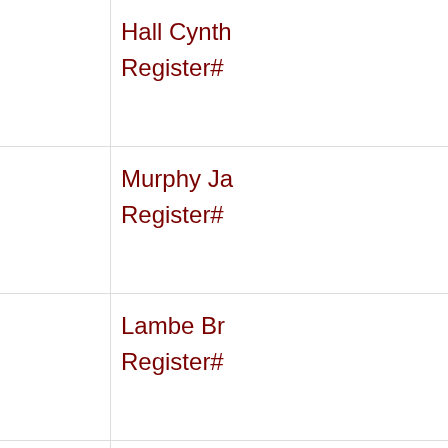|  | Hall Cynth
Register# |
|  | Murphy Ja
Register# |
|  | Lambe Br
Register# |
|  | Cunningh
Ellen
Register# |